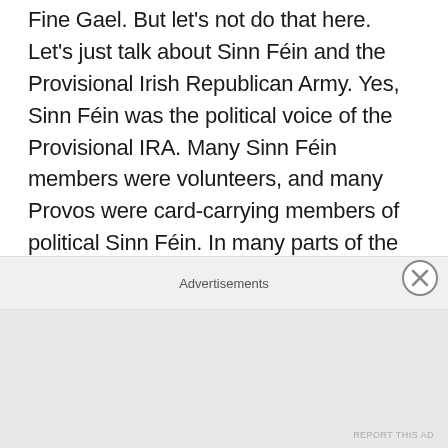Fine Gael. But let's not do that here. Let's just talk about Sinn Féin and the Provisional Irish Republican Army. Yes, Sinn Féin was the political voice of the Provisional IRA. Many Sinn Féin members were volunteers, and many Provos were card-carrying members of political Sinn Féin. In many parts of the North it was impossible to tell where Sinn Féin ended and the IRA begun. And so, there must be at least some justification in the efforts of our opponents to shame us with the past, but we can answer this without shame.
Advertisements